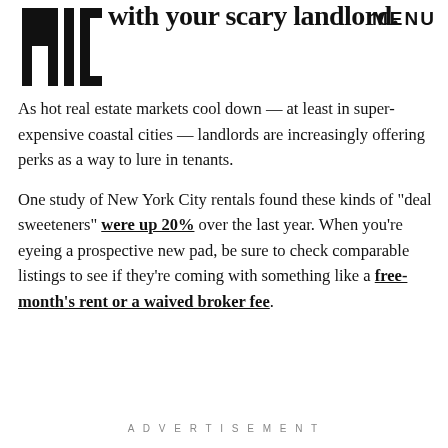with your scary landlord.
[Figure (logo): MIC logo — bold stylized letters stacked vertically in black]
As hot real estate markets cool down — at least in super-expensive coastal cities — landlords are increasingly offering perks as a way to lure in tenants.

One study of New York City rentals found these kinds of "deal sweeteners" were up 20% over the last year. When you're eyeing a prospective new pad, be sure to check comparable listings to see if they're coming with something like a free-month's rent or a waived broker fee.
ADVERTISEMENT